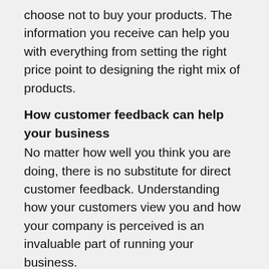choose not to buy your products. The information you receive can help you with everything from setting the right price point to designing the right mix of products.
How customer feedback can help your business
No matter how well you think you are doing, there is no substitute for direct customer feedback. Understanding how your customers view you and how your company is perceived is an invaluable part of running your business.
Large multinational companies spend millions of dollars soliciting feedback from customers, often designing elaborate social media outreach programs and marketing campaigns to gauge their brands and make adjustments. You do not need the resources of those large multinationals do get the same results; everything you need is already in your computer. The email lists you already possess are powerful tools for assessing the